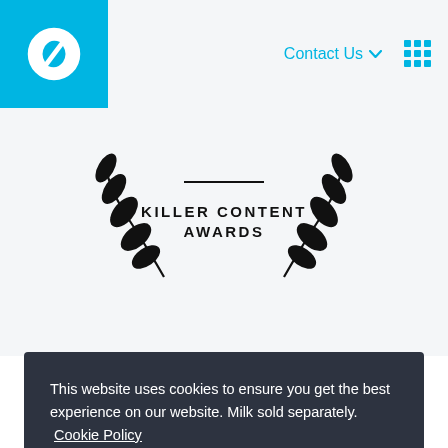SSDM | Contact Us
[Figure (logo): Killer Content Awards logo — two laurel branches flanking a horizontal line above the text KILLER CONTENT AWARDS]
This website uses cookies to ensure you get the best experience on our website. Milk sold separately. Cookie Policy
Sure, no problem!